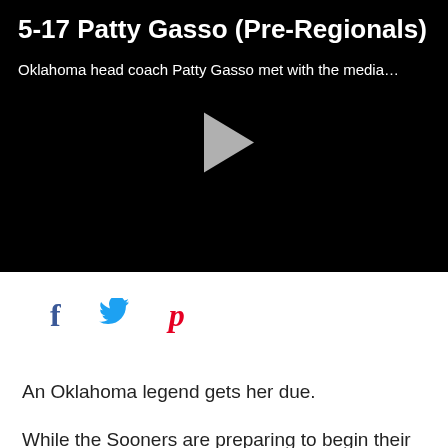[Figure (screenshot): Video player with black background showing a play button (grey triangle) in the center]
5-17 Patty Gasso (Pre-Regionals)
Oklahoma head coach Patty Gasso met with the media…
[Figure (infographic): Social sharing icons: Facebook (f), Twitter (bird), Pinterest (P)]
An Oklahoma legend gets her due.
While the Sooners are preparing to begin their run in the NCAA Tournament starting on